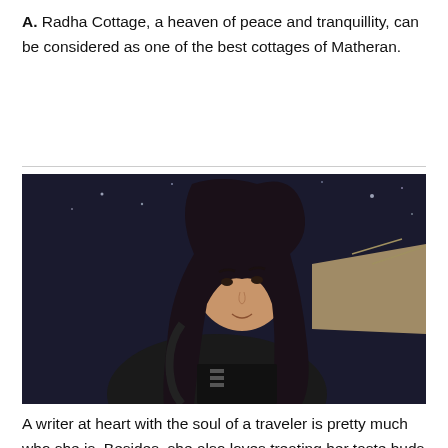A. Radha Cottage, a heaven of peace and tranquillity, can be considered as one of the best cottages of Matheran.
[Figure (photo): A young woman with long dark hair wearing a black outfit, smiling slightly, photographed against a dark background with a building structure visible in the upper right.]
A writer at heart with the soul of a traveler is pretty much who she is. Besides, she also loves treating her taste buds to